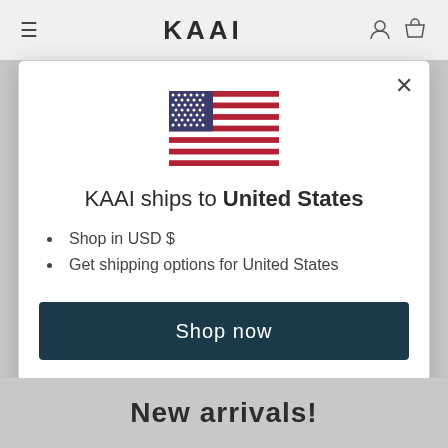KAAI
[Figure (illustration): US flag emoji/icon centered in modal dialog]
KAAI ships to United States
Shop in USD $
Get shipping options for United States
Shop now
Change shipping country
New arrivals!